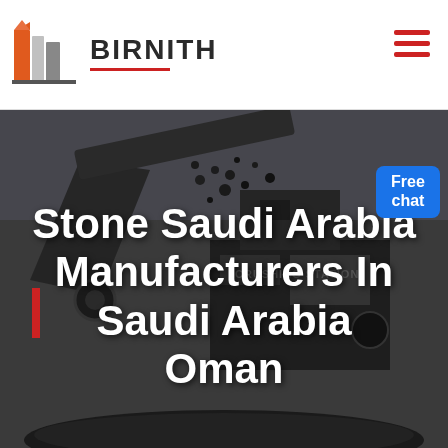[Figure (logo): Birnith logo: orange and grey building/pillar icon with company name BIRNITH in bold with red underline, and hamburger menu icon on the right]
[Figure (photo): Dark industrial photo of a stone crushing station machinery with coal/stone falling, large industrial conveyor and crushing equipment in low-light grey tones]
[Figure (other): Blue 'Free chat' button with customer service representative icon in top right corner]
Stone Saudi Arabia Manufacturers In Saudi Arabia Oman